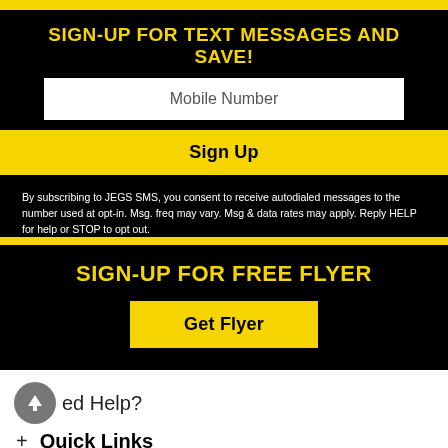SIGN-UP FOR TEXT MESSAGES AND SAVE!
Mobile Number
Sign Up
By subscribing to JEGS SMS, you consent to receive autodialed messages to the number used at opt-in. Msg. freq may vary. Msg & data rates may apply. Reply HELP for help or STOP to opt out.
SIGN-UP FOR FREE FLYER
Get Flyer
ed Help?
+ Quick Links